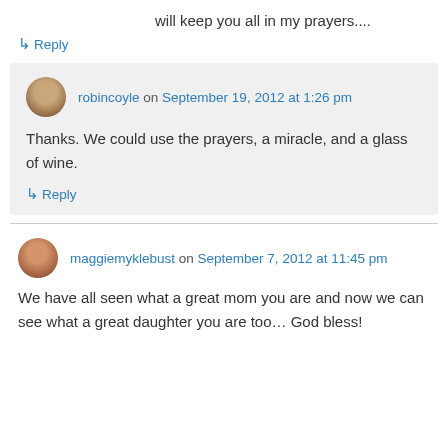will keep you all in my prayers....
↳ Reply
robincoyle on September 19, 2012 at 1:26 pm
Thanks. We could use the prayers, a miracle, and a glass of wine.
↳ Reply
maggiemyklebust on September 7, 2012 at 11:45 pm
We have all seen what a great mom you are and now we can see what a great daughter you are too… God bless!